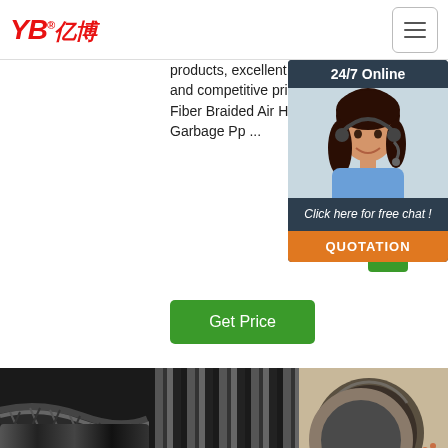[Figure (screenshot): YB亿博 company logo with red stylized text]
[Figure (screenshot): Hamburger navigation menu button]
products, excellent services and competitive prices for Fiber Braided Air Hose, Garbage Pp ...
Flexible Gas Hose of C... so c...
[Figure (screenshot): 24/7 Online chat widget with customer service agent photo, 'Click here for free chat!' text, and QUOTATION button]
[Figure (photo): Get Price green button]
[Figure (photo): Close-up of black braided rubber air hose]
[Figure (photo): Bundle of black rubber tubes/hoses viewed from the front]
[Figure (photo): Cross-section of a rubber hose showing inner structure, with TOP badge overlay]